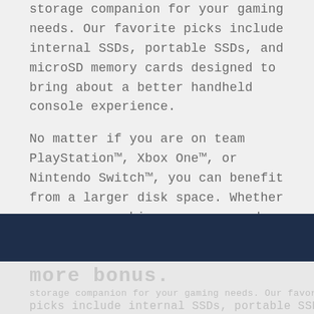storage companion for your gaming needs. Our favorite picks include internal SSDs, portable SSDs, and microSD memory cards designed to bring about a better handheld console experience.
No matter if you are on team PlayStation™, Xbox One™, or Nintendo Switch™, you can benefit from a larger disk space. Whether you are a newbie or a seasoned gamer, accelerated performance and less load time will give you that extra advantage. Without further ado, let's get started!